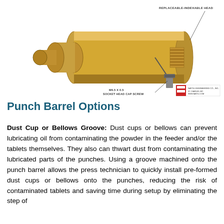[Figure (engineering-diagram): Technical engineering diagram of a punch barrel showing a cylindrical golden/yellow component with labels: 'REPLACEABLE-INDEXABLE HEAD' at top right, 'SOCKET HEAD CAP SCREW M6.5 X 0.5' at bottom center, and a company logo/title block at bottom right.]
Punch Barrel Options
Dust Cup or Bellows Groove: Dust cups or bellows can prevent lubricating oil from contaminating the powder in the feeder and/or the tablets themselves. They also can thwart dust from contaminating the lubricated parts of the punches. Using a groove machined onto the punch barrel allows the press technician to quickly install pre-formed dust cups or bellows onto the punches, reducing the risk of contaminated tablets and saving time during setup by eliminating the step of